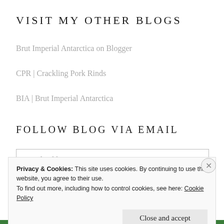VISIT MY OTHER BLOGS
Brut Imperial Antarctica on Blogger
CPR | Crackling Pork Rinds
BIA | Brut Imperial Antarctica
FOLLOW BLOG VIA EMAIL
Email Address
Privacy & Cookies: This site uses cookies. By continuing to use this website, you agree to their use.
To find out more, including how to control cookies, see here: Cookie Policy
Close and accept